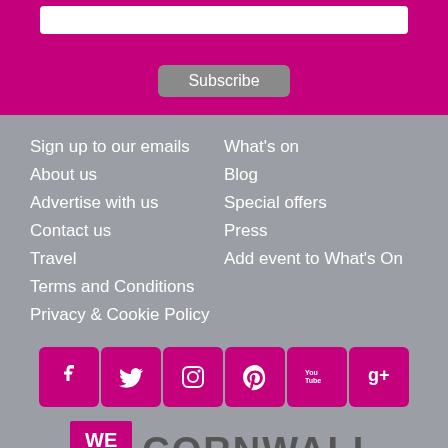Subscribe
Sign up to our emails
About us
Advertise with us
Contact us
Travel
Terms and Conditions
Privacy & Cookie Policy
What's on
Blog
Special offers
Press
Add event to What's On
[Figure (logo): Social media icons row: Facebook, Twitter, Instagram, Pinterest, YouTube, Google+]
[Figure (logo): We Are Cornwall logo]
Whether you're looking for places to stay in Cornwall, seeking inspiration on things to do whilst visiting, or simply